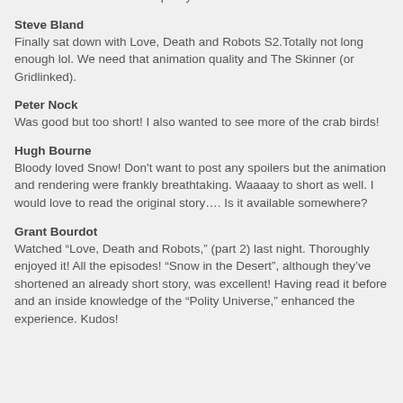would be awesome in this quality.
Steve Bland
Finally sat down with Love, Death and Robots S2.Totally not long enough lol. We need that animation quality and The Skinner (or Gridlinked).
Peter Nock
Was good but too short! I also wanted to see more of the crab birds!
Hugh Bourne
Bloody loved Snow! Don't want to post any spoilers but the animation and rendering were frankly breathtaking. Waaaay to short as well. I would love to read the original story…. Is it available somewhere?
Grant Bourdot
Watched “Love, Death and Robots,” (part 2) last night. Thoroughly enjoyed it! All the episodes! “Snow in the Desert”, although they’ve shortened an already short story, was excellent! Having read it before and an inside knowledge of the “Polity Universe,” enhanced the experience. Kudos!